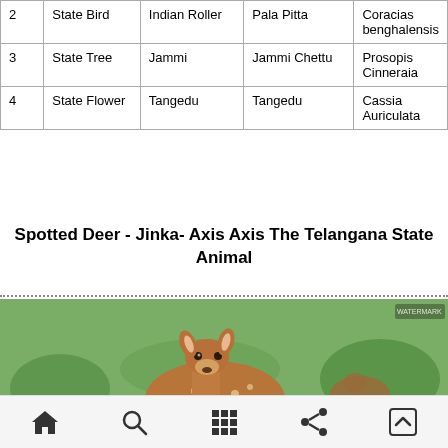| # | Type | English Name | Telugu Name | Scientific Name |
| --- | --- | --- | --- | --- |
| 2 | State Bird | Indian Roller | Pala Pitta | Coracias benghalensis |
| 3 | State Tree | Jammi | Jammi Chettu | Prosopis Cinneraia |
| 4 | State Flower | Tangedu | Tangedu | Cassia Auriculata |
Spotted Deer - Jinka- Axis Axis The Telangana State Animal
[Figure (photo): Photograph of a spotted deer (chital/jinka) standing on a dirt path looking at the camera, with green foliage in the background and another deer visible behind it.]